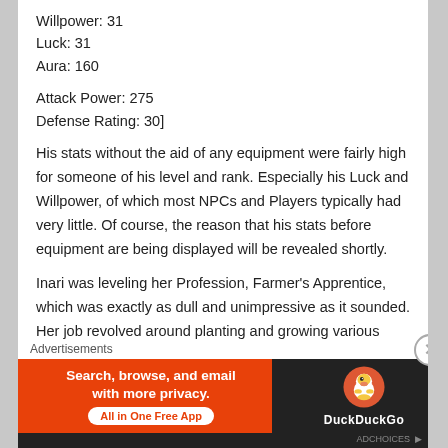Willpower: 31
Luck: 31
Aura: 160
Attack Power: 275
Defense Rating: 30]
His stats without the aid of any equipment were fairly high for someone of his level and rank. Especially his Luck and Willpower, of which most NPCs and Players typically had very little. Of course, the reason that his stats before equipment are being displayed will be revealed shortly.
Inari was leveling her Profession, Farmer’s Apprentice, which was exactly as dull and unimpressive as it sounded. Her job revolved around planting and growing various crops, gardening to a certain extent, and also raising
Advertisements
[Figure (other): DuckDuckGo advertisement banner: orange background on left with text 'Search, browse, and email with more privacy. All in One Free App', dark background on right with DuckDuckGo logo and duck mascot.]